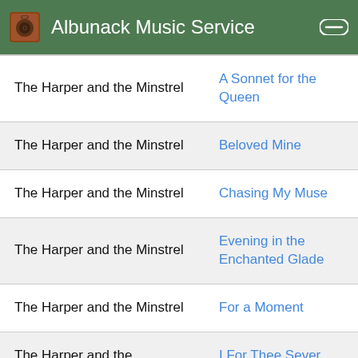Albunack Music Service
| Album | Song |
| --- | --- |
| The Harper and the Minstrel | A Sonnet for the Queen |
| The Harper and the Minstrel | Beloved Mine |
| The Harper and the Minstrel | Chasing My Muse |
| The Harper and the Minstrel | Evening in the Enchanted Glade |
| The Harper and the Minstrel | For a Moment |
| The Harper and the Minstrel | … |